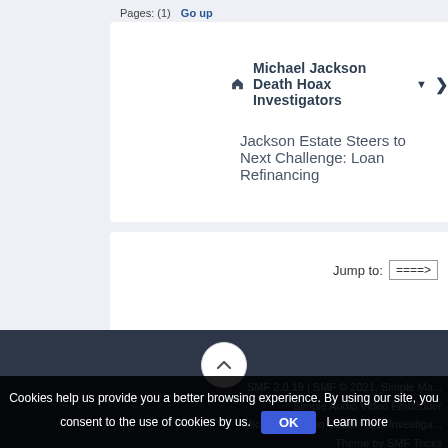Pages: (1)  Go up
Michael Jackson Death Hoax Investigators ▼ ❯
Jackson Estate Steers to Next Challenge: Loan Refinancing
Jump to: ====>
SMF 2.0.19 | SMF © 2021, Simple Ma...
Simple Audio Video Embedder
Michael Jackson Death Hoax Investiga...
Theme by SMF Tricks
Cookies help us provide you a better browsing experience. By using our site, you consent to the use of cookies by us.   OK   Learn more